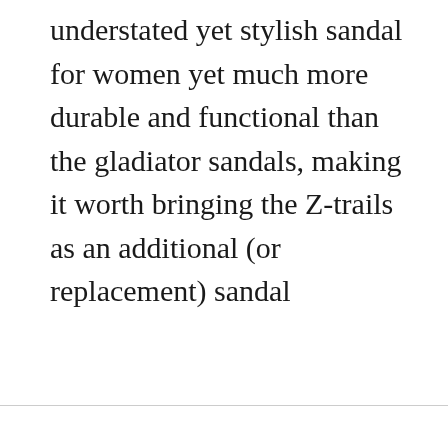understated yet stylish sandal for women yet much more durable and functional than the gladiator sandals, making it worth bringing the Z-trails as an additional (or replacement) sandal